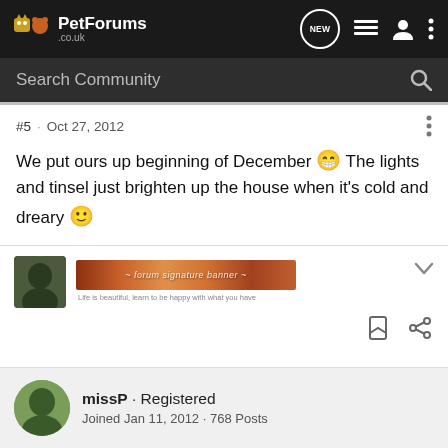PetForums .co.uk — navigation bar with NEW button, list icon, user icon, more options
Search Community
#5 · Oct 27, 2012
We put ours up beginning of December 😁 The lights and tinsel just brighten up the house when it's cold and dreary 🙂
[Figure (screenshot): User avatar thumbnail and decorative signature image for a forum user]
missP · Registered
Joined Jan 11, 2012 · 768 Posts